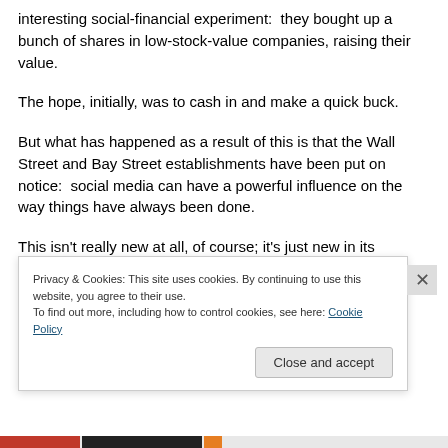interesting social-financial experiment:  they bought up a bunch of shares in low-stock-value companies, raising their value.
The hope, initially, was to cash in and make a quick buck.
But what has happened as a result of this is that the Wall Street and Bay Street establishments have been put on notice:  social media can have a powerful influence on the way things have always been done.
This isn't really new at all, of course; it's just new in its
Privacy & Cookies: This site uses cookies. By continuing to use this website, you agree to their use.
To find out more, including how to control cookies, see here: Cookie Policy